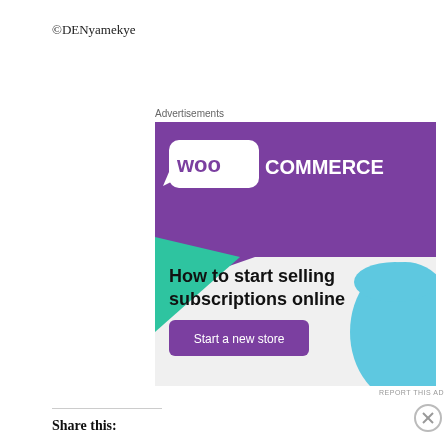©DENyamekye
Advertisements
[Figure (illustration): WooCommerce advertisement: purple header with WooCommerce logo, teal triangle shape, light grey background, bold text 'How to start selling subscriptions online', purple 'Start a new store' button, cyan/blue blob shape bottom right]
REPORT THIS AD
Share this:
Advertisements
[Figure (illustration): DuckDuckGo advertisement: orange background with white text 'Search, browse, and email with more privacy. All in One Free App', dark panel with DuckDuckGo logo on right]